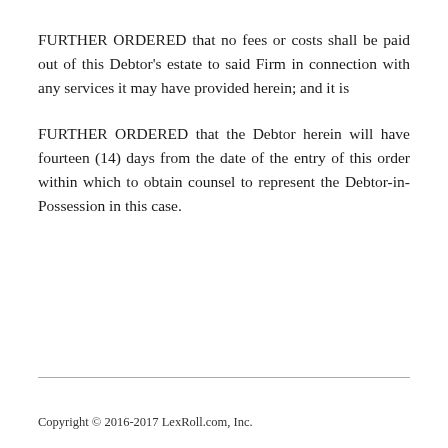FURTHER ORDERED that no fees or costs shall be paid out of this Debtor's estate to said Firm in connection with any services it may have provided herein; and it is
FURTHER ORDERED that the Debtor herein will have fourteen (14) days from the date of the entry of this order within which to obtain counsel to represent the Debtor-in-Possession in this case.
Copyright © 2016-2017 LexRoll.com, Inc.